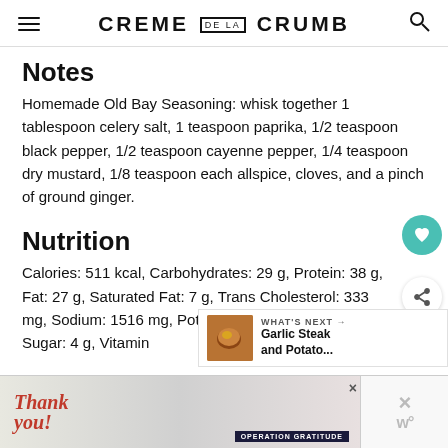CREME DE LA CRUMB
Notes
Homemade Old Bay Seasoning: whisk together 1 tablespoon celery salt, 1 teaspoon paprika, 1/2 teaspoon black pepper, 1/2 teaspoon cayenne pepper, 1/4 teaspoon dry mustard, 1/8 teaspoon each allspice, cloves, and a pinch of ground ginger.
Nutrition
Calories: 511 kcal, Carbohydrates: 29 g, Protein: 38 g, Fat: 27 g, Saturated Fat: 7 g, Trans Cholesterol: 333 mg, Sodium: 1516 mg, Potassium: 928 mg, Fiber: 3 g, Sugar: 4 g, Vitamin